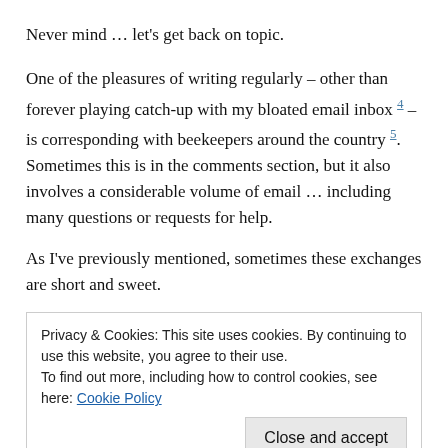Never mind … let's get back on topic.
One of the pleasures of writing regularly – other than forever playing catch-up with my bloated email inbox 4 – is corresponding with beekeepers around the country 5. Sometimes this is in the comments section, but it also involves a considerable volume of email … including many questions or requests for help.
As I've previously mentioned, sometimes these exchanges are short and sweet.
Privacy & Cookies: This site uses cookies. By continuing to use this website, you agree to their use. To find out more, including how to control cookies, see here: Cookie Policy
but in other cases there's a bit of to and fro.